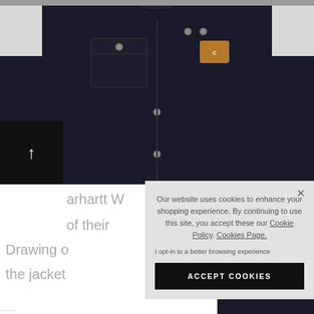[Figure (photo): A dark navy/black Carhartt work jacket displayed on a model or mannequin, showing chest pockets with snap buttons and the Carhartt logo patch. The upper portion of the jacket fills most of the page.]
arhartt W
of their
Drawing o
the jacket
Our website uses cookies to enhance your shopping experience. By continuing to use this site, you accept these our Cookie Policy. Cookies Page.
I opt-in to a better browsing experience
ACCEPT COOKIES